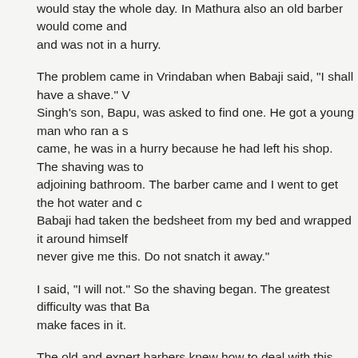would stay the whole day. In Mathura also an old barber would come and was not in a hurry.
The problem came in Vrindaban when Babaji said, "I shall have a shave." Singh's son, Bapu, was asked to find one. He got a young man who ran a s came, he was in a hurry because he had left his shop. The shaving was to adjoining bathroom. The barber came and I went to get the hot water and c Babaji had taken the bedsheet from my bed and wrapped it around himself never give me this. Do not snatch it away."
I said, "I will not." So the shaving began. The greatest difficulty was that Ba make faces in it.
The old and expert barbers knew how to deal with this, but the young man
I said, "Baba, sit straight and let him shave you." But he kept moving and t
Maharaj ji said, "What is that? What is that?"
"Of course, it is a cut. This is what you have done. The poor fellow is emba would not allow him peace to shave you."
Some alum was put on—it was only a small cut. The barber finished and w hair grow here again?"